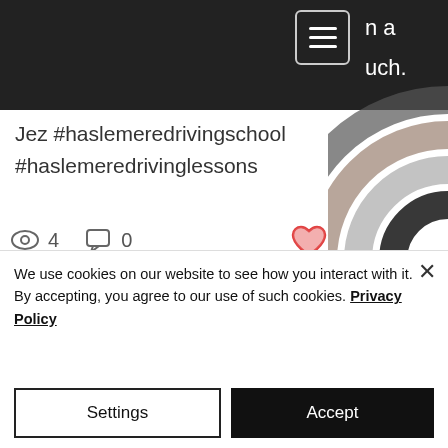[Figure (screenshot): Dark navigation header bar with hamburger menu icon (three horizontal lines in a rounded rectangle) and partial white text visible on right side reading 'n a' and 'uch.']
Jez #haslemeredrivingschool #haslemeredrivinglessons
4 views, 0 comments, heart/like icon
[Figure (photo): Photograph of a person with blonde hair standing in front of a dark brick building with multiple windows and a bare tree, taken outdoors in daylight]
We use cookies on our website to see how you interact with it. By accepting, you agree to our use of such cookies. Privacy Policy
Settings | Accept